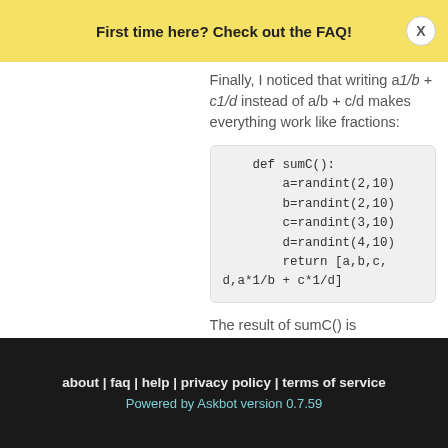First time here? Check out the FAQ!
Finally, I noticed that writing a1/b + c1/d instead of a/b + c/d makes everything work like fractions:
def sumC():
    a=randint(2,10)
    b=randint(2,10)
    c=randint(3,10)
    d=randint(4,10)
    return [a,b,c,
d,a*1/b + c*1/d]
The result of sumC() is
[6, 7, 5, 6, 71/42]
about | faq | help | privacy policy | terms of service
Powered by Askbot version 0.7.59